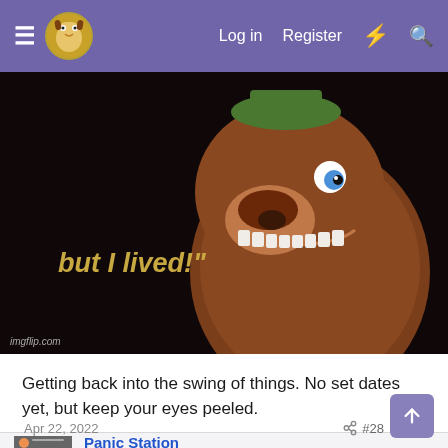Log in  Register
[Figure (screenshot): Animated bear/wolf character with a wide grinning expression. Text overlay reads: but I lived!" Watermark: imgflip.com]
Getting back into the swing of things. No set dates yet, but keep your eyes peeled.
Panic Station
Apr 22, 2022  #28